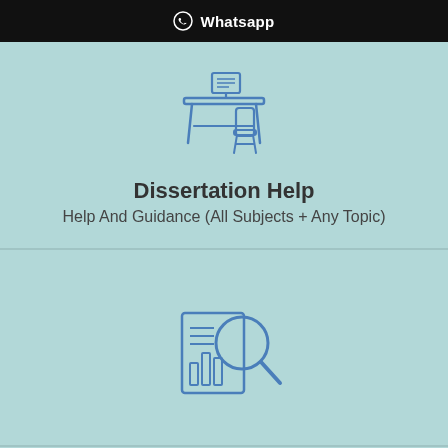Whatsapp
[Figure (illustration): Blue line icon of a person sitting at a desk with a document or screen]
Dissertation Help
Help And Guidance (All Subjects + Any Topic)
[Figure (illustration): Blue line icon of a report or document with a magnifying glass overlay]
[Figure (illustration): Blue line icon of a person presenting or teaching next to a display panel with a robot or character]